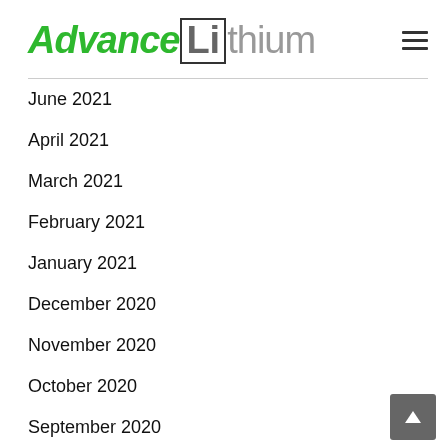Advance Lithium
June 2021
April 2021
March 2021
February 2021
January 2021
December 2020
November 2020
October 2020
September 2020
August 2020